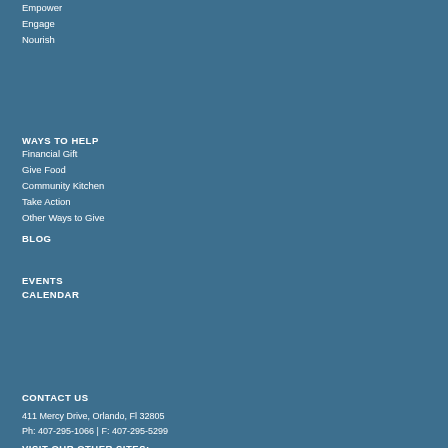Empower
Engage
Nourish
SNAP Benefits Assistance
Community Resources
Become a Partner Agency
ABOUT US
Free Culinary Training
About Us
Hunger in Central Florida
Frequently Asked Questions
Newsletter Sign Up
Locations
Board of Directors
WAYS TO HELP
Financial Gift
Give Food
Community Kitchen
Take Action
Other Ways to Give
BLOG
EVENTS CALENDAR
Annual Report
Financial Documents
Strategic Plan
Meet Our Senior Staff
Job Openings & Internships
Privacy Policy
CONTACT US
411 Mercy Drive, Orlando, Fl 32805
Ph: 407-295-1066 | F: 407-295-5299
VISIT OUR OTHER SITES: